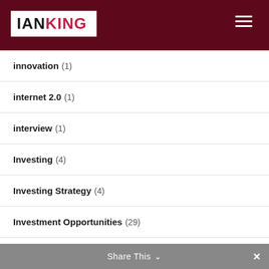[Figure (screenshot): IAN KING website header with dark red background and hamburger menu icon]
innovation (1)
internet 2.0 (1)
interview (1)
Investing (4)
Investing Strategy (4)
Investment Opportunities (29)
Investment Strategy (2)
IoT (1)
IPO (2)
LUNA (2)
machine learning (1)